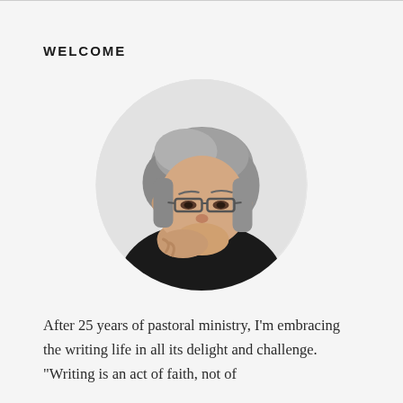WELCOME
[Figure (photo): Circular portrait photo of a middle-aged Asian woman with short gray hair, wearing glasses and a dark top, smiling with her chin resting on her hand, against a light background.]
After 25 years of pastoral ministry, I'm embracing the writing life in all its delight and challenge. "Writing is an act of faith, not of